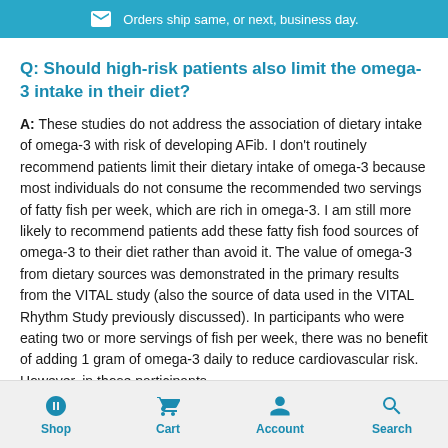Orders ship same, or next, business day.
Q: Should high-risk patients also limit the omega-3 intake in their diet?
A: These studies do not address the association of dietary intake of omega-3 with risk of developing AFib. I don't routinely recommend patients limit their dietary intake of omega-3 because most individuals do not consume the recommended two servings of fatty fish per week, which are rich in omega-3. I am still more likely to recommend patients add these fatty fish food sources of omega-3 to their diet rather than avoid it. The value of omega-3 from dietary sources was demonstrated in the primary results from the VITAL study (also the source of data used in the VITAL Rhythm Study previously discussed). In participants who were eating two or more servings of fish per week, there was no benefit of adding 1 gram of omega-3 daily to reduce cardiovascular risk. However, in those participants who were eating two or more servings of fish per week,
Shop  Cart  Account  Search